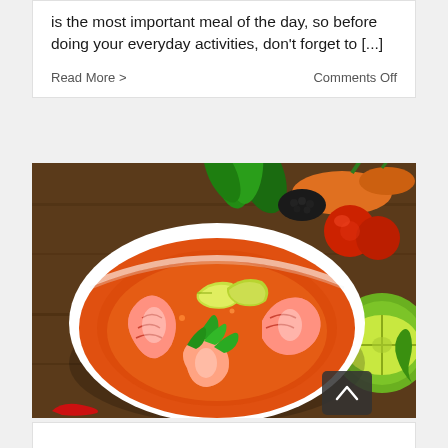is the most important meal of the day, so before doing your everyday activities, don't forget to [...]
Read More >   Comments Off
[Figure (photo): A white bowl of Tom Yum shrimp soup with lime slices and green herbs, surrounded by fresh vegetables including carrots, tomatoes, lime, green peppers, and chili on a wooden background. A scroll-to-top button is visible in the bottom right corner.]